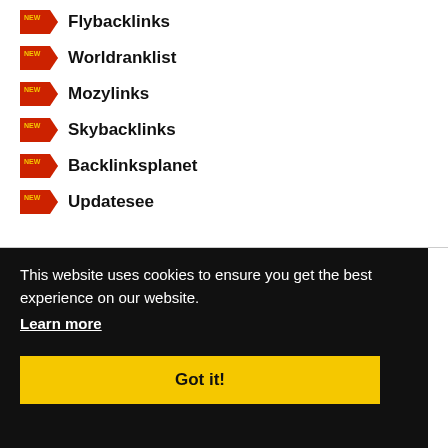Flybacklinks
Worldranklist
Mozylinks
Skybacklinks
Backlinksplanet
Updatesee
This website uses cookies to ensure you get the best experience on our website.
Learn more
Got it!